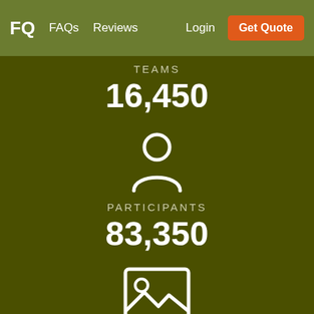FQ  FAQs  Reviews  Login  Get Quote
TEAMS
16,450
[Figure (illustration): White person/user silhouette icon on dark olive background]
PARTICIPANTS
83,350
[Figure (illustration): White image/photo placeholder icon on dark olive background]
PHOTOS JUDGED